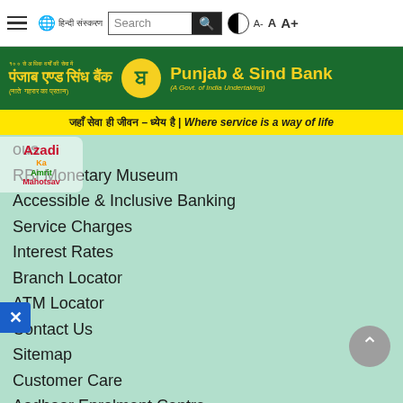Punjab & Sind Bank website navigation header with search bar and accessibility controls
[Figure (logo): Punjab & Sind Bank logo on green background with Hindi and English bank name and tagline]
जहाँ सेवा ही जीवन – ध्येय है | Where service is a way of life
ous
RBI Monetary Museum
Accessible & Inclusive Banking
Service Charges
Interest Rates
Branch Locator
ATM Locator
Contact Us
Sitemap
Customer Care
Aadhaar Enrolment Centre
EMI Calculator
CSBI Code
Loan Eligibility Calculator
Independent External Monitor(IEM)